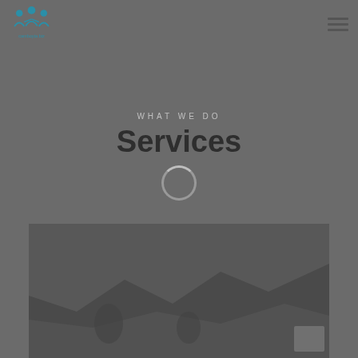[Figure (logo): Community organization logo with stylized people figures in teal/blue, with text 'camboyta.biz' below]
[Figure (other): Hamburger menu icon (three horizontal lines) in top right corner]
WHAT WE DO
Services
[Figure (other): Loading spinner circle overlay on the Services title]
[Figure (photo): Dark grayscale photo at the bottom of the page showing an outdoor/landscape scene with people, partially visible]